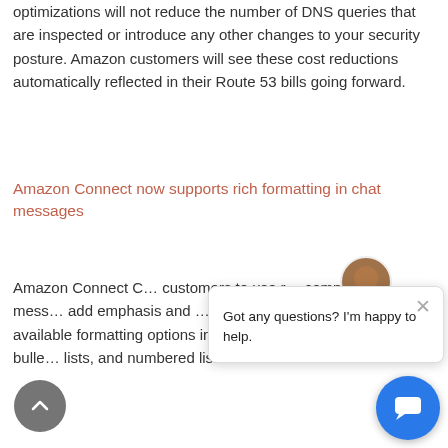optimizations will not reduce the number of DNS queries that are inspected or introduce any other changes to your security posture. Amazon customers will see these cost reductions automatically reflected in their Route 53 bills going forward.
Amazon Connect now supports rich formatting in chat messages
Amazon Connect C... customers to use r... composing a mess... add emphasis and ... improving comprehension. The available formatting options include bold, italics, hyperlinks, bullet lists, and numbered lists.